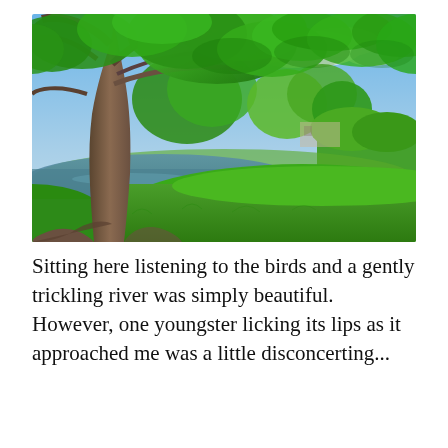[Figure (photo): A lush green park scene with a large tree in the foreground on the left, a calm river or pond reflecting the trees, vibrant green grass in the foreground, and more trees and a building in the background under a partly cloudy blue sky.]
Sitting here listening to the birds and a gently trickling river was simply beautiful. However, one youngster licking its lips as it approached me was a little disconcerting...